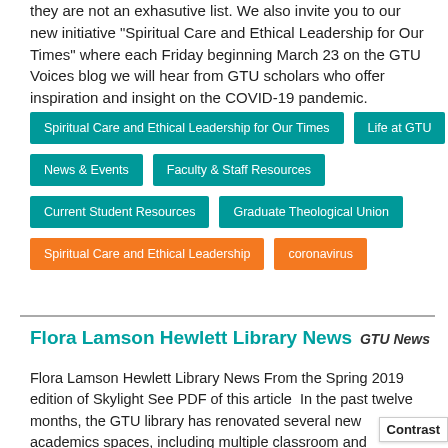they are not an exhasutive list. We also invite you to our new initiative "Spiritual Care and Ethical Leadership for Our Times" where each Friday beginning March 23 on the GTU Voices blog we will hear from GTU scholars who offer inspiration and insight on the COVID-19 pandemic.
Spiritual Care and Ethical Leadership for Our Times
Life at GTU
News & Events
Faculty & Staff Resources
Current Student Resources
Graduate Theological Union
Spiritual Care and Ethical Leadership
coronavirus
Flora Lamson Hewlett Library News
GTU News
Flora Lamson Hewlett Library News From the Spring 2019 edition of Skylight See PDF of this article  In the past twelve months, the GTU library has renovated several new academics spaces, including multiple classroom and conversation spaces and a new digital learning lab. We’re pleased to announce that we have also created for the GTU community on the library’s main floor, a new Prayer and Medi Space. The space is designed to feel comfortable for students, faculty,
Contrast